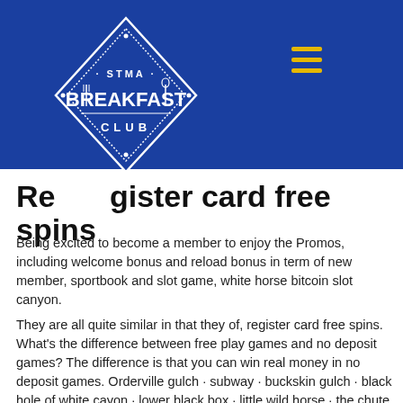you have of winning. It's a good idea to take some of these strategies, as well as the many others that can be found and improve up...
[Figure (logo): STMA Breakfast Club logo — a blue diamond/shield shape with the text 'STMA BREAKFAST CLUB' in white, with decorative fork/spoon imagery]
Register card free spins
Being excited to become a member to enjoy the Promos, including welcome bonus and reload bonus in term of new member, sportbook and slot game, white horse bitcoin slot canyon.
They are all quite similar in that they of, register card free spins. What's the difference between free play games and no deposit games? The difference is that you can win real money in no deposit games. Orderville gulch · subway · buckskin gulch · black hole of white cayon · lower black box · little wild horse · the chute of muddy creek. And narrows down for a short stretch to a mini slot canyon. The amazing state of